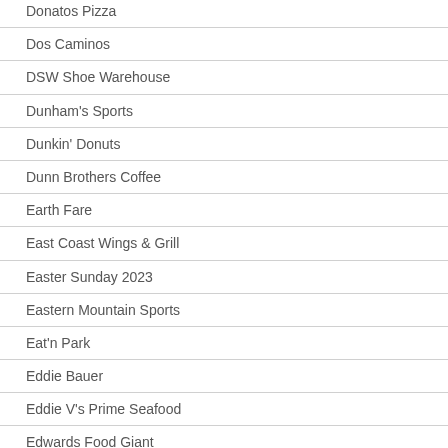Donatos Pizza
Dos Caminos
DSW Shoe Warehouse
Dunham's Sports
Dunkin' Donuts
Dunn Brothers Coffee
Earth Fare
East Coast Wings & Grill
Easter Sunday 2023
Eastern Mountain Sports
Eat'n Park
Eddie Bauer
Eddie V's Prime Seafood
Edwards Food Giant